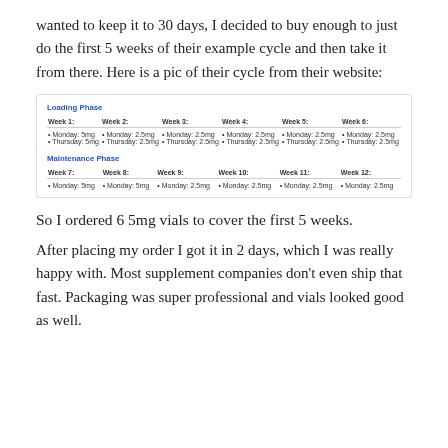wanted to keep it to 30 days, I decided to buy enough to just do the first 5 weeks of their example cycle and then take it from there. Here is a pic of their cycle from their website:
[Figure (table-as-image): Dosage cycle table showing Loading Phase (Weeks 1–6) and Maintenance Phase (Weeks 7–12) with Monday and Thursday dosing schedules ranging from 5mg to 2.5mg]
So I ordered 6 5mg vials to cover the first 5 weeks.
After placing my order I got it in 2 days, which I was really happy with. Most supplement companies don't even ship that fast. Packaging was super professional and vials looked good as well.